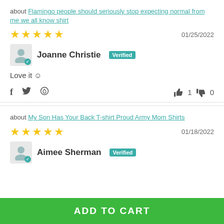about Flamingo people should seriously stop expecting normal from me we all know shirt
★★★★★  01/25/2022
Joanne Christie  Verified
Love it 😊
f  🐦  ⊕  👍 1  👎 0
about My Son Has Your Back T-shirt Proud Army Mom Shirts
★★★★★  01/18/2022
Aimee Sherman  Verified
ADD TO CART